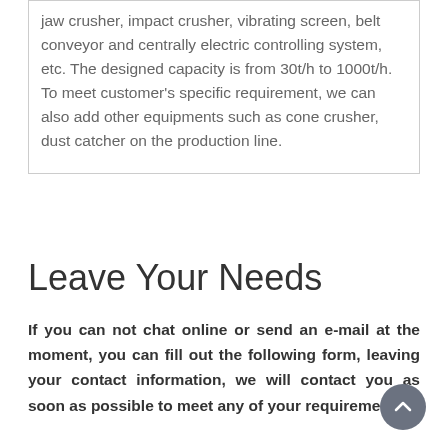jaw crusher, impact crusher, vibrating screen, belt conveyor and centrally electric controlling system, etc. The designed capacity is from 30t/h to 1000t/h. To meet customer's specific requirement, we can also add other equipments such as cone crusher, dust catcher on the production line.
Leave Your Needs
If you can not chat online or send an e-mail at the moment, you can fill out the following form, leaving your contact information, we will contact you as soon as possible to meet any of your requirements!